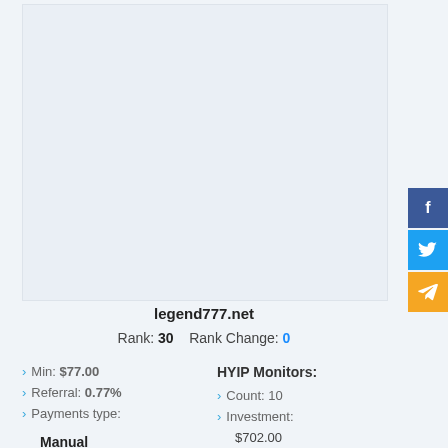[Figure (other): Placeholder image area for legend777.net website screenshot, light grey background]
legend777.net
Rank: 30   Rank Change: 0
Min: $77.00
HYIP Monitors:
Referral: 0.77%
Count: 10
Payments type:
Investment:
Manual
$702.00